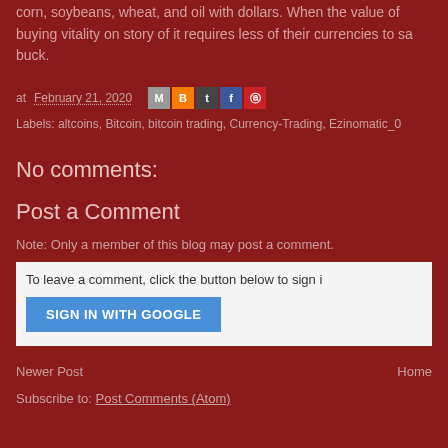corn, soybeans, wheat, and oil with dollars. When the value of buying vitality on story of it requires less of their currencies to sa buck.
at February 21, 2020
Labels: altcoins, Bitcoin, bitcoin trading, Currency-Trading, Ezinomatic_0
No comments:
Post a Comment
Note: Only a member of this blog may post a comment.
To leave a comment, click the button below to sign i
SIGN IN WITH GOOGLE
Newer Post               Home
Subscribe to: Post Comments (Atom)